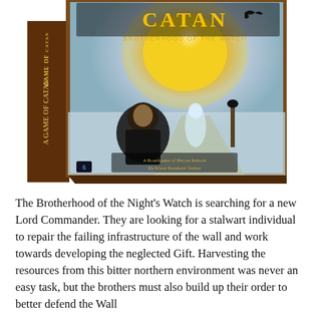[Figure (photo): Product box image of 'Catan: Brotherhood of the Watch' board game. The box features a Game of Thrones themed Catan game with artwork showing a bearded man in dark furs (resembling a Night's Watch character), wintry landscape, ravens, and a large golden sun/explosion in the background. Text on box reads 'CATAN', 'Brotherhood of the Watch', 'A Boardgame of Heroes Reborn by Klaus Bernhard Teuber'.]
The Brotherhood of the Night's Watch is searching for a new Lord Commander. They are looking for a stalwart individual to repair the failing infrastructure of the wall and work towards developing the neglected Gift. Harvesting the resources from this bitter northern environment was never an easy task, but the brothers must also build up their order to better defend the Wall